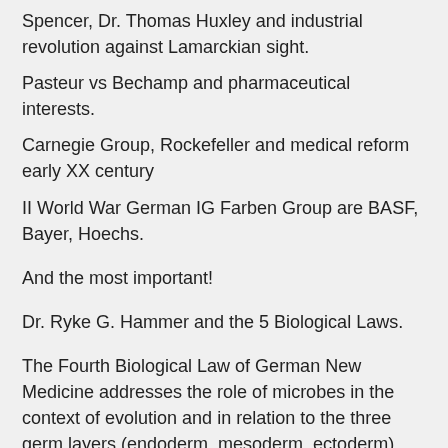Spencer, Dr. Thomas Huxley and industrial revolution against Lamarckian sight.
Pasteur vs Bechamp and pharmaceutical interests.
Carnegie Group, Rockefeller and medical reform early XX century
II World War German IG Farben Group are BASF, Bayer, Hoechs.
And the most important!
Dr. Ryke G. Hammer and the 5 Biological Laws.
The Fourth Biological Law of German New Medicine addresses the role of microbes in the context of evolution and in relation to the three germ layers (endoderm, mesoderm, ectoderm) from which our organs originate.
Thus, Coronavirus are endogen viruses, naturaly present in our body, only activated (allowed) by the brain to help us through, to restore normal activity.
Take a look on the Dr. Hamer research, fear of death